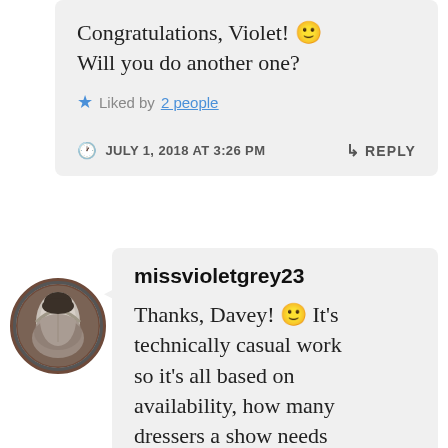Congratulations, Violet! 🙂 Will you do another one?
★ Liked by 2 people
JULY 1, 2018 AT 3:26 PM
↳ REPLY
[Figure (photo): Circular avatar showing a person's back, black and white photo]
missvioletgrey23
Thanks, Davey! 🙂 It's technically casual work so it's all based on availability, how many dressers a show needs